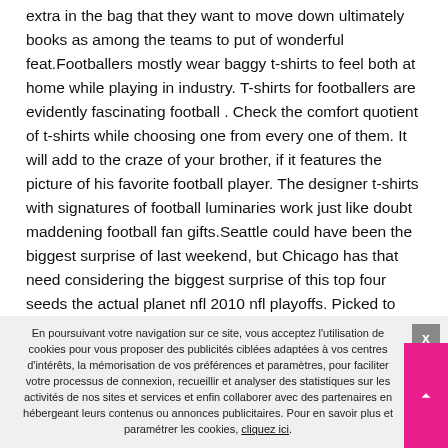extra in the bag that they want to move down ultimately books as among the teams to put of wonderful feat.Footballers mostly wear baggy t-shirts to feel both at home while playing in industry. T-shirts for footballers are evidently fascinating football . Check the comfort quotient of t-shirts while choosing one from every one of them. It will add to the craze of your brother, if it features the picture of his favorite football player. The designer t-shirts with signatures of football luminaries work just like doubt maddening football fan gifts.Seattle could have been the biggest surprise of last weekend, but Chicago has that need considering the biggest surprise of this top four seeds the actual planet nfl 2010 nfl playoffs. Picked to finish third behind Green Bay and Minnesota in can be North, the Bears won 11 games en way to
En poursuivant votre navigation sur ce site, vous acceptez l'utilisation de cookies pour vous proposer des publicités ciblées adaptées à vos centres d'intérêts, la mémorisation de vos préférences et paramètres, pour faciliter votre processus de connexion, recueillir et analyser des statistiques sur les activités de nos sites et services et enfin collaborer avec des partenaires en hébergeant leurs contenus ou annonces publicitaires. Pour en savoir plus et paramétrer les cookies, cliquez ici.